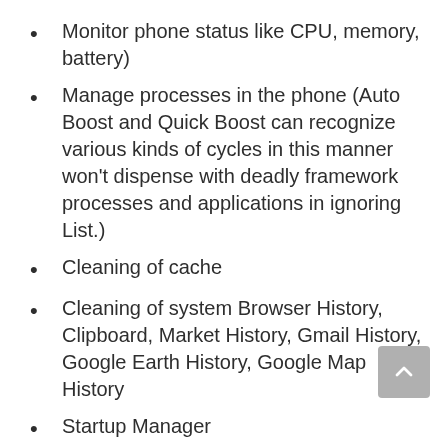Monitor phone status like CPU, memory, battery)
Manage processes in the phone (Auto Boost and Quick Boost can recognize various kinds of cycles in this manner won't dispense with deadly framework processes and applications in ignoring List.)
Cleaning of cache
Cleaning of system Browser History, Clipboard, Market History, Gmail History, Google Earth History, Google Map History
Startup Manager
Group Uninstall
Battery...